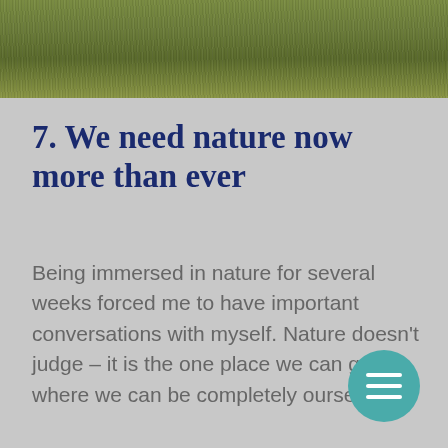[Figure (photo): Green grass field photographed from above or close up, serving as a decorative header image.]
7. We need nature now more than ever
Being immersed in nature for several weeks forced me to have important conversations with myself. Nature doesn't judge – it is the one place we can go where we can be completely ourselves.